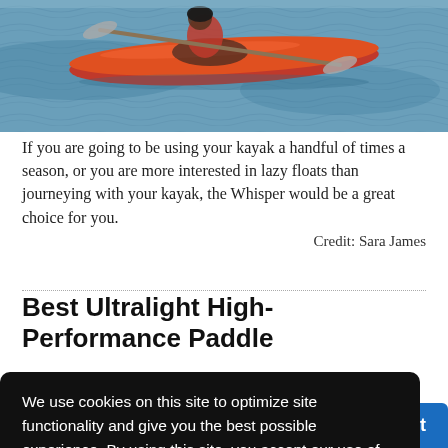[Figure (photo): Person kayaking on water in a red/orange kayak, viewed from the side with blue-grey water in background.]
If you are going to be using your kayak a handful of times a season, or you are more interested in lazy floats than journeying with your kayak, the Whisper would be a great choice for you.
Credit: Sara James
Best Ultralight High-Performance Paddle
We use cookies on this site to optimize site functionality and give you the best possible experience. By using this site, you accept our use of cookies. Learn more
Got it!
See it